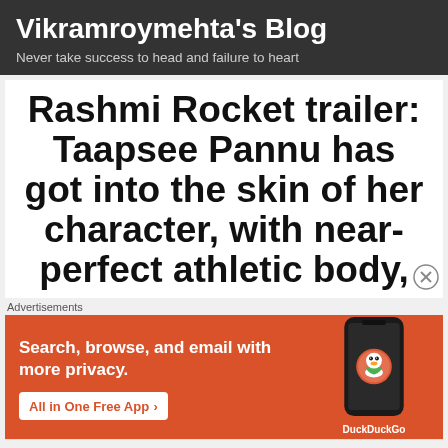Vikramroymehta's Blog
Never take success to head and failure to heart
Rashmi Rocket trailer: Taapsee Pannu has got into the skin of her character, with near-perfect athletic body,
[Figure (infographic): DuckDuckGo advertisement banner. Orange background with text: Search, browse, and email with more privacy. All in One Free App. DuckDuckGo logo with phone mockup on the right.]
Follow